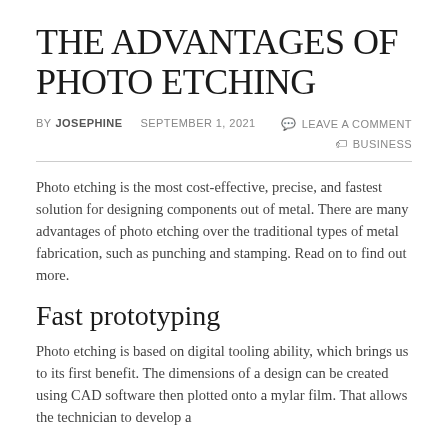THE ADVANTAGES OF PHOTO ETCHING
BY JOSEPHINE   SEPTEMBER 1, 2021   LEAVE A COMMENT   BUSINESS
Photo etching is the most cost-effective, precise, and fastest solution for designing components out of metal. There are many advantages of photo etching over the traditional types of metal fabrication, such as punching and stamping. Read on to find out more.
Fast prototyping
Photo etching is based on digital tooling ability, which brings us to its first benefit. The dimensions of a design can be created using CAD software then plotted onto a mylar film. That allows the technician to develop a